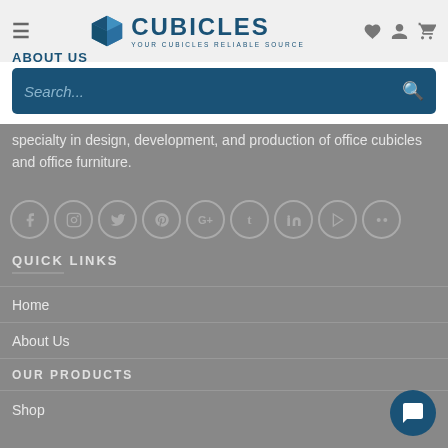[Figure (logo): Cubicles logo with cube icon and tagline YOUR CUBICLES RELIABLE SOURCE]
ABOUT US
specialty in design, development, and production of office cubicles and office furniture.
[Figure (other): Row of social media icon circles: Facebook, Instagram, Twitter, Pinterest, Google+, Tumblr, LinkedIn, YouTube, Flickr]
QUICK LINKS
Home
About Us
OUR PRODUCTS
Shop